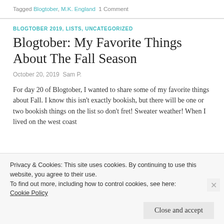Tagged Blogtober, M.K. England  1 Comment
BLOGTOBER 2019, LISTS, UNCATEGORIZED
Blogtober: My Favorite Things About The Fall Season
October 20, 2019  Sam P.
For day 20 of Blogtober, I wanted to share some of my favorite things about Fall. I know this isn't exactly bookish, but there will be one or two bookish things on the list so don't fret! Sweater weather! When I lived on the west coast
Privacy & Cookies: This site uses cookies. By continuing to use this website, you agree to their use.
To find out more, including how to control cookies, see here:
Cookie Policy
Close and accept